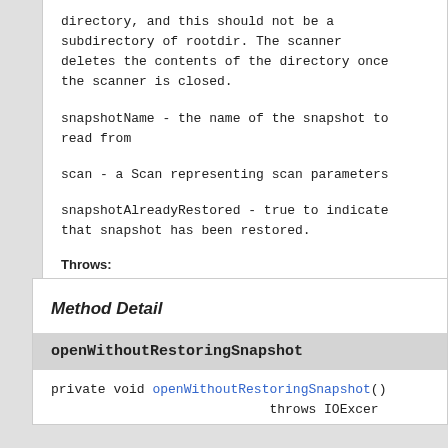directory, and this should not be a subdirectory of rootdir. The scanner deletes the contents of the directory once the scanner is closed.
snapshotName - the name of the snapshot to read from
scan - a Scan representing scan parameters
snapshotAlreadyRestored - true to indicate that snapshot has been restored.
Throws:
IOException - in case of error
Method Detail
openWithoutRestoringSnapshot
private void openWithoutRestoringSnapshot()
    throws IOExcer